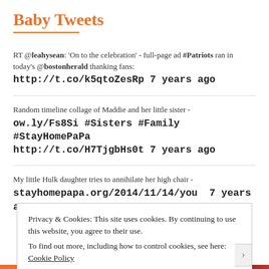Baby Tweets
RT @leahysean: 'On to the celebration' - full-page ad #Patriots ran in today's @bostonherald thanking fans: http://t.co/k5qtoZesRp 7 years ago
Random timeline collage of Maddie and her little sister - ow.ly/Fs8Si #Sisters #Family #StayHomePaPa http://t.co/H7TjgbHs0t 7 years ago
My little Hulk daughter tries to annihilate her high chair - stayhomepapa.org/2014/11/14/you  7 years ago
Privacy & Cookies: This site uses cookies. By continuing to use this website, you agree to their use.
To find out more, including how to control cookies, see here: Cookie Policy
Close and accept